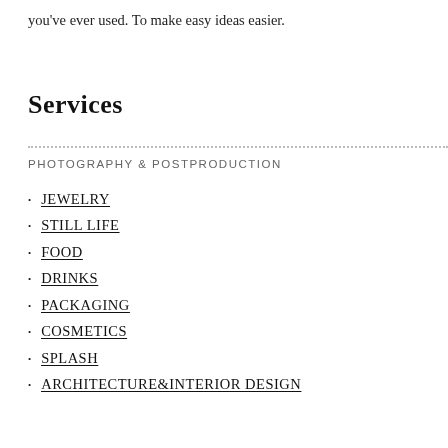you've ever used. To make easy ideas easier.
Services
PHOTOGRAPHY & POSTPRODUCTION
JEWELRY
STILL LIFE
FOOD
DRINKS
PACKAGING
COSMETICS
SPLASH
ARCHITECTURE&INTERIOR DESIGN